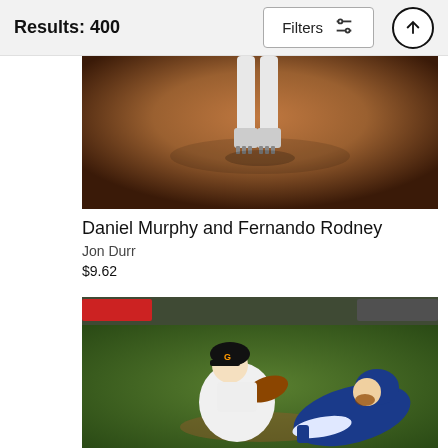Results: 400
[Figure (photo): Close-up photo of a baseball player's lower legs and cleats standing on a dirt infield, viewed from above]
Daniel Murphy and Fernando Rodney
Jon Durr
$9.62
[Figure (photo): Baseball action photo showing a San Francisco Giants player in white uniform colliding with a Kansas City Royals player in blue uniform sliding into base, with a baseball glove visible]